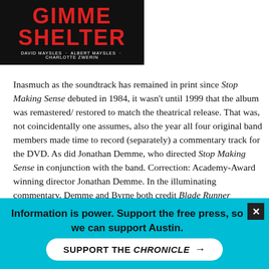[Figure (illustration): Movie poster for 'Gimme Shelter' on black background with red bold title text and white director credits reading 'David Maysles - Albert Maysles - Charlotte Zwerin']
Inasmuch as the soundtrack has remained in print since Stop Making Sense debuted in 1984, it wasn't until 1999 that the album was remastered/ restored to match the theatrical release. That was, not coincidentally one assumes, also the year all four original band members made time to record (separately) a commentary track for the DVD. As did Jonathan Demme, who directed Stop Making Sense in conjunction with the band. Correction: Academy-Award winning director Jonathan Demme. In the illuminating commentary, Demme and Byrne both credit Blade Runner cameraman Jordan Cronenweth with all marvelous lighting and angle techniques employed through out Stop Making Sense. Thanks to the DVD, a priceless CD and movie just became one and the same.
Commentary tracks, in which any number of a film's makers -- usually the director -- talk over their creation, are one of the finer
Information is power. Support the free press, so we can support Austin.
SUPPORT THE CHRONICLE →